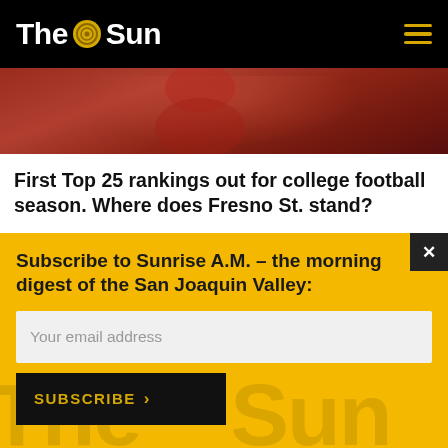The Sun
[Figure (photo): Sports photo showing a football player in red uniform]
First Top 25 rankings out for college football season. Where does Fresno St. stand?
Subscribe to Sunrise A.M. – the morning digest of the San Joaquin Valley:
Your email address
SUBSCRIBE